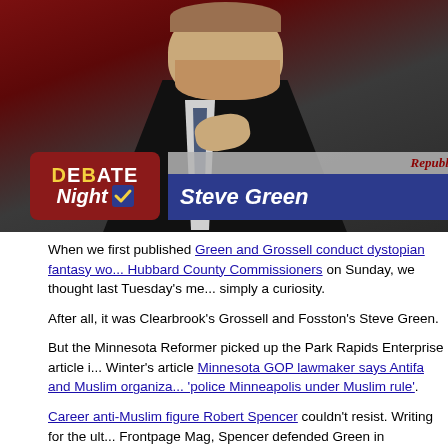[Figure (photo): Screenshot from a TV debate broadcast showing a man in a dark suit with a lower-third graphic reading 'Debate Night' with a checkmark logo and name bar 'Steve Green', and a 'Republican' label in the upper right corner.]
When we first published Green and Grossell conduct dystopian fantasy wo... Hubbard County Commissioners on Sunday, we thought last Tuesday's me... simply a curiosity.
After all, it was Clearbrook's Grossell and Fosston's Steve Green.
But the Minnesota Reformer picked up the Park Rapids Enterprise article i... Winter's article Minnesota GOP lawmaker says Antifa and Muslim organiza... 'police Minneapolis under Muslim rule'.
Career anti-Muslim figure Robert Spencer couldn't resist. Writing for the ult... Frontpage Mag, Spencer defended Green in Minnesota State Rep: Antifa a... Groups Plan to 'Police Minneapolis Under Muslim Rule', citing articles of fa... anti-Muslim internet: